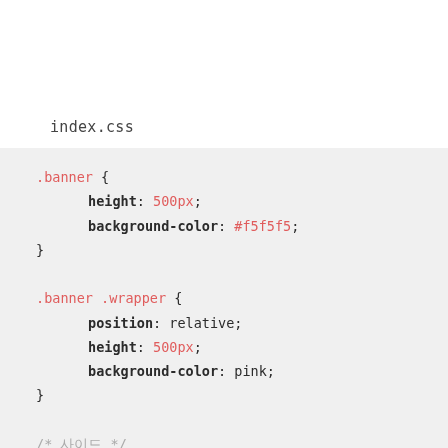index.css
.banner {
    height: 500px;
    background-color: #f5f5f5;
}

.banner .wrapper {
    position: relative;
    height: 500px;
    background-color: pink;
}

/* 사이드 */
.banner .aside {
    position: absolute;
    left: 0;
    top: 0;
    width: 250px;